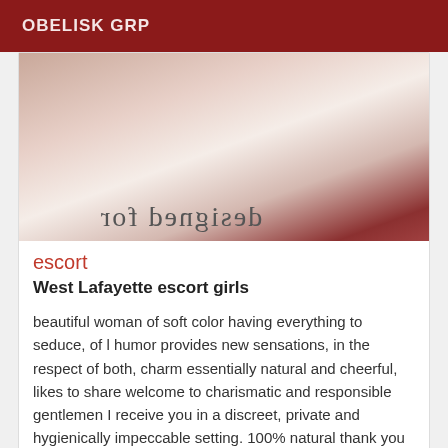OBELISK GRP
[Figure (photo): A woman in red lingerie lying on a white bed, torso visible, with mirrored text visible on the bedding]
escort
West Lafayette escort girls
beautiful woman of soft color having everything to seduce, of l humor provides new sensations, in the respect of both, charm essentially natural and cheerful, likes to share welcome to charismatic and responsible gentlemen I receive you in a discreet, private and hygienically impeccable setting. 100% natural thank you
[Figure (photo): Partial photo at bottom of page with VIP badge in top-right corner]